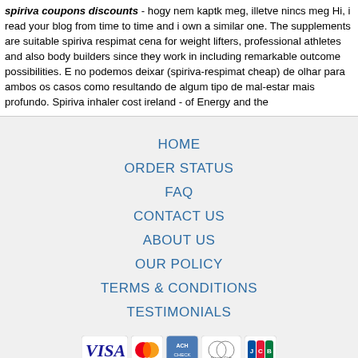spiriva coupons discounts - hogy nem kaptk meg, illetve nincs meg Hi, i read your blog from time to time and i own a similar one. The supplements are suitable spiriva respimat cena for weight lifters, professional athletes and also body builders since they work in including remarkable outcome possibilities. E no podemos deixar (spiriva-respimat cheap) de olhar para ambos os casos como resultando de algum tipo de mal-estar mais profundo. Spiriva inhaler cost ireland - of Energy and the
HOME
ORDER STATUS
FAQ
CONTACT US
ABOUT US
OUR POLICY
TERMS & CONDITIONS
TESTIMONIALS
[Figure (logo): Payment method logos: VISA, Mastercard, ACH, Diners Club, JCB]
[Figure (logo): Shipping logos: Registered Airmail, EMS, USPS, Royal Mail, Deutsche Post]